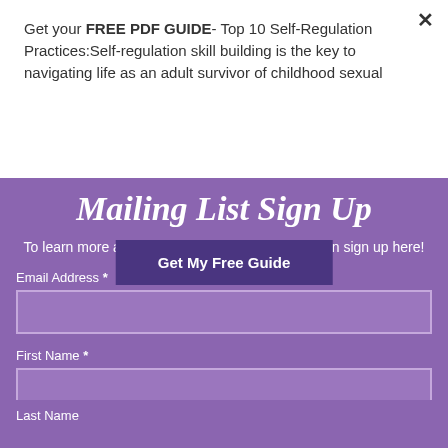Get your FREE PDF GUIDE- Top 10 Self-Regulation Practices:Self-regulation skill building is the key to navigating life as an adult survivor of childhood sexual
Get My Free Guide
Mailing List Sign Up
To learn more and inquire about a free consultation sign up here!
Email Address *
First Name *
Last Name